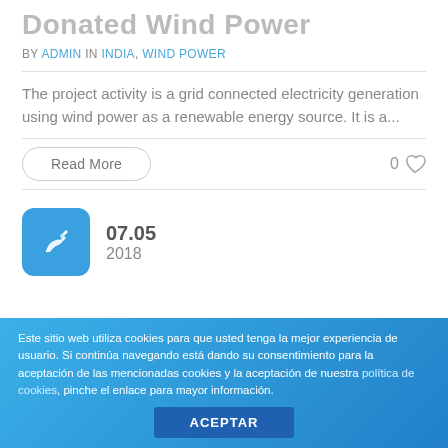Donated Wind Power
BY ADMIN IN INDIA, WIND POWER
The project activity is a grid connected electricity generation using wind power as a renewable energy source. It is a...
Read More
0
07.05
2018
Este sitio web utiliza cookies para que usted tenga la mejor experiencia de usuario. Si continúa navegando está dando su consentimiento para la aceptación de las mencionadas cookies y la aceptación de nuestra política de cookies, pinche el enlace para mayor información.
ACEPTAR